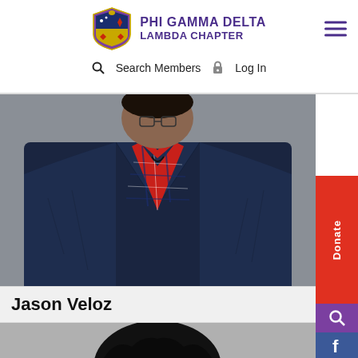[Figure (logo): Phi Gamma Delta Lambda Chapter shield/crest logo with owl and diamond pattern]
PHI GAMMA DELTA Lambda Chapter
Search Members   Log In
[Figure (photo): Close-up photo of a person wearing a navy blazer over a red plaid flannel shirt, cropped at neck/chest level]
Jason Veloz
[Figure (photo): Top of person's head with large afro hair, gray background, partially visible at bottom of page]